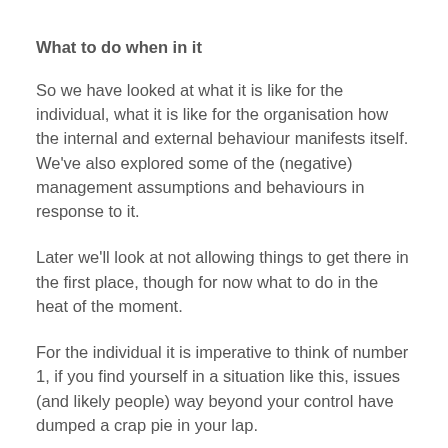What to do when in it
So we have looked at what it is like for the individual, what it is like for the organisation how the internal and external behaviour manifests itself. We've also explored some of the (negative) management assumptions and behaviours in response to it.
Later we'll look at not allowing things to get there in the first place, though for now what to do in the heat of the moment.
For the individual it is imperative to think of number 1, if you find yourself in a situation like this, issues (and likely people) way beyond your control have dumped a crap pie in your lap.
If at any point you have a CEO or senior management sit you down to grill you about everything you did wrong in their eyes,